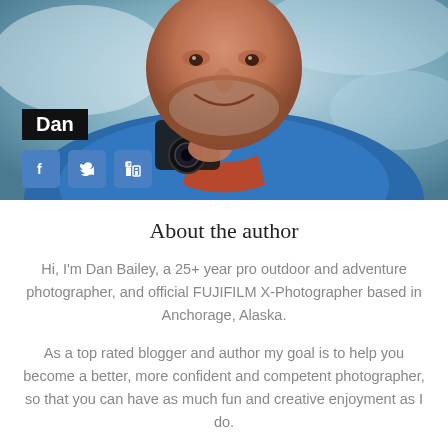[Figure (photo): Close-up photo of a smiling middle-aged man with a beard, wearing a blue jacket, holding a camera. Background shows a snowy/icy environment. Name badge 'Dan' and social media icons (Facebook, Twitter, LinkedIn) are overlaid on the photo.]
About the author
Hi, I'm Dan Bailey, a 25+ year pro outdoor and adventure photographer, and official FUJIFILM X-Photographer based in Anchorage, Alaska.
As a top rated blogger and author my goal is to help you become a better, more confident and competent photographer, so that you can have as much fun and creative enjoyment as I do.